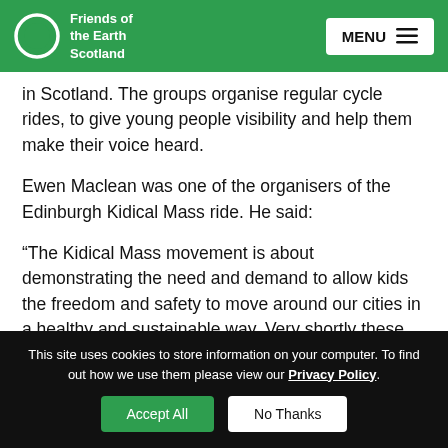Friends of the Earth Scotland | MENU
in Scotland. The groups organise regular cycle rides, to give young people visibility and help them make their voice heard.
Ewen Maclean was one of the organisers of the Edinburgh Kidical Mass ride. He said:
“The Kidical Mass movement is about demonstrating the need and demand to allow kids the freedom and safety to move around our cities in a healthy and sustainable way. Very shortly these
This site uses cookies to store information on your computer. To find out how we use them please view our Privacy Policy.